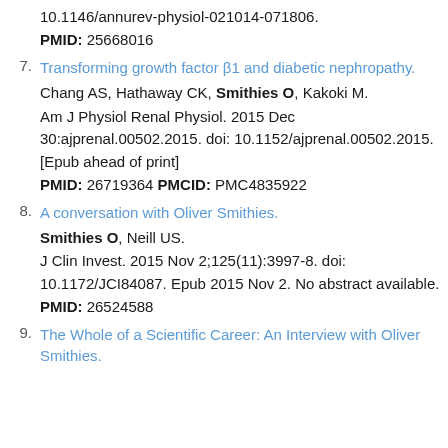(continuation) 10.1146/annurev-physiol-021014-071806. PMID: 25668016
7. Transforming growth factor β1 and diabetic nephropathy. Chang AS, Hathaway CK, Smithies O, Kakoki M. Am J Physiol Renal Physiol. 2015 Dec 30:ajprenal.00502.2015. doi: 10.1152/ajprenal.00502.2015. [Epub ahead of print] PMID: 26719364 PMCID: PMC4835922
8. A conversation with Oliver Smithies. Smithies O, Neill US. J Clin Invest. 2015 Nov 2;125(11):3997-8. doi: 10.1172/JCI84087. Epub 2015 Nov 2. No abstract available. PMID: 26524588
9. The Whole of a Scientific Career: An Interview with Oliver Smithies.